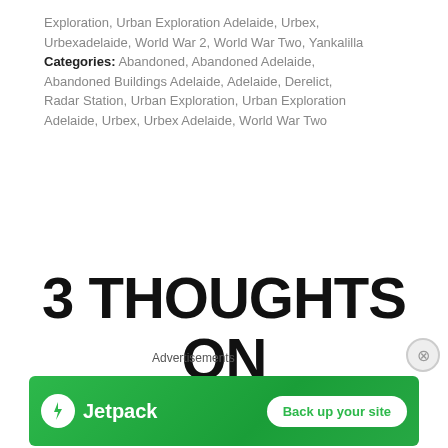Exploration, Urban Exploration Adelaide, Urbex, Urbexadelaide, World War 2, World War Two, Yankalilla Categories: Abandoned, Abandoned Adelaide, Abandoned Buildings Adelaide, Adelaide, Derelict, Radar Station, Urban Exploration, Urban Exploration Adelaide, Urbex, Urbex Adelaide, World War Two
3 THOUGHTS ON “URBAN EXPLORATION ADELAIDE’S
Advertisements
[Figure (other): Jetpack advertisement banner with green background, Jetpack logo and 'Back up your site' button]